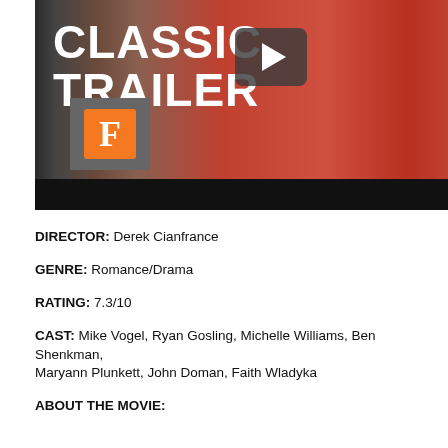[Figure (screenshot): Video thumbnail for a Classic Trailer featuring a couple in a scene. Shows 'CLASSIC TRAILER' text in white bold font with a play button overlay. Fandango logo badge visible at bottom left of the video. Bottom black bar. People in the background wearing red shirt and plaid shirt.]
DIRECTOR: Derek Cianfrance
GENRE: Romance/Drama
RATING: 7.3/10
CAST: Mike Vogel, Ryan Gosling, Michelle Williams, Ben Shenkman, Maryann Plunkett, John Doman, Faith Wladyka
ABOUT THE MOVIE: